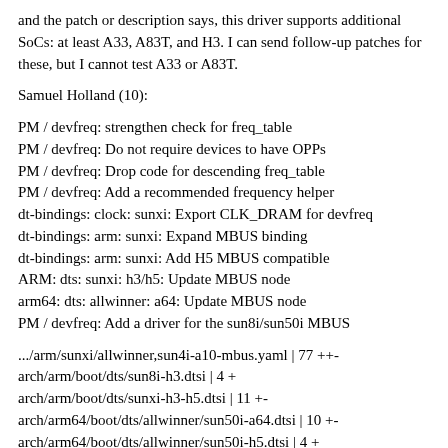and the patch or description says, this driver supports additional SoCs: at least A33, A83T, and H3. I can send follow-up patches for these, but I cannot test A33 or A83T.
Samuel Holland (10):
PM / devfreq: strengthen check for freq_table
PM / devfreq: Do not require devices to have OPPs
PM / devfreq: Drop code for descending freq_table
PM / devfreq: Add a recommended frequency helper
dt-bindings: clock: sunxi: Export CLK_DRAM for devfreq
dt-bindings: arm: sunxi: Expand MBUS binding
dt-bindings: arm: sunxi: Add H5 MBUS compatible
ARM: dts: sunxi: h3/h5: Update MBUS node
arm64: dts: allwinner: a64: Update MBUS node
PM / devfreq: Add a driver for the sun8i/sun50i MBUS
.../arm/sunxi/allwinner,sun4i-a10-mbus.yaml | 77 ++-
arch/arm/boot/dts/sun8i-h3.dtsi | 4 +
arch/arm/boot/dts/sunxi-h3-h5.dtsi | 11 +-
arch/arm64/boot/dts/allwinner/sun50i-a64.dtsi | 10 +-
arch/arm64/boot/dts/allwinner/sun50i-h5.dtsi | 4 +
drivers/clk/sunxi-ng/ccu-sun50i-a64.h | 2 -
drivers/clk/sunxi-ng/ccu-sun8i-h3.h | 2 -
drivers/devfreq/Kconfig | 8 +
drivers/devfreq/Makefile | 1 +